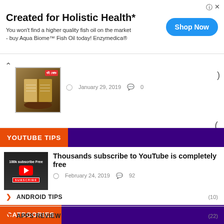[Figure (screenshot): Advertisement banner for Aqua Biome Fish Oil by Enzymedica with Shop Now button]
[Figure (photo): Article thumbnail showing an open book (Quran) on a stand with Bengali text overlay]
) January 29, 2019   0
YOUTUBE TIPS
[Figure (screenshot): YouTube subscribe thumbnail with two people and subscribe button]
Thousands subscribe to YouTube is completely free
February 24, 2019   92
CATEGORIES
ANDROID TIPS (10)
APPS REVIEW (22)